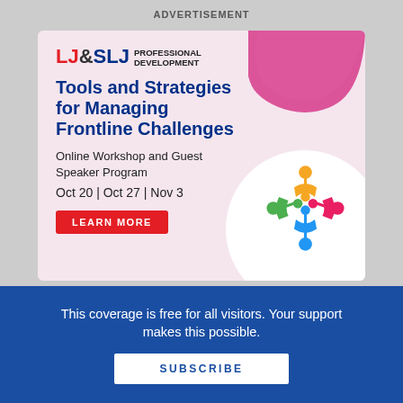ADVERTISEMENT
[Figure (infographic): LJ&SLJ Professional Development advertisement banner. Pink background with decorative pink blob top-right and white circle bottom-right. Contains logo 'LJ&SLJ PROFESSIONAL DEVELOPMENT', headline 'Tools and Strategies for Managing Frontline Challenges', subtext 'Online Workshop and Guest Speaker Program', dates 'Oct 20 | Oct 27 | Nov 3', red 'LEARN MORE' button, and colorful people-in-circle icon.]
This coverage is free for all visitors. Your support makes this possible.
SUBSCRIBE